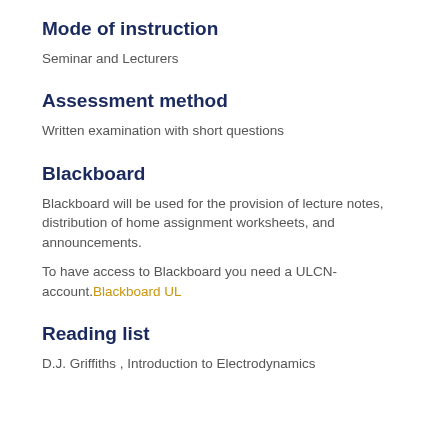Mode of instruction
Seminar and Lecturers
Assessment method
Written examination with short questions
Blackboard
Blackboard will be used for the provision of lecture notes, distribution of home assignment worksheets, and announcements.
To have access to Blackboard you need a ULCN-account.Blackboard UL
Reading list
D.J. Griffiths , Introduction to Electrodynamics